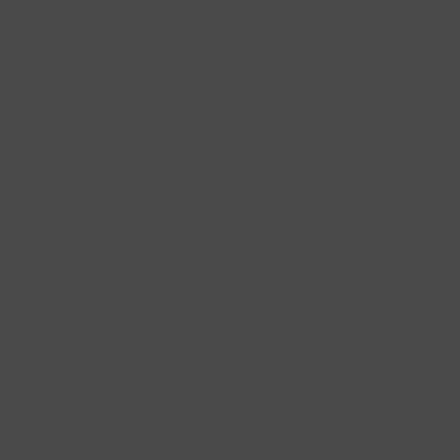of the "Rehearsal T... guys are better hea... the guy who did the... recordings - specifi... rehearsal conversa... thought were clever...
9/9/10: Robert Geo... Lenoir Sax Quartet ... (and signed the gue... told me he'd borrow... charts from the UCL... Library!  I have no i... music got there - m... USC so chances ar... sent the parts to UC... have any ideas?  I r... "charts" that UCLA ... Music tab (the alph... section).  He also h... research on all the ... that to me, to incorp... Wow! Thanks to Mr... the info!  Now all I w... YouTube performa...